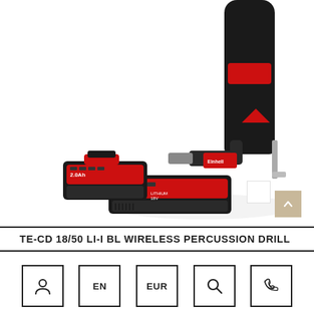[Figure (photo): Einhell TE-CD 18/50 LI-I BL wireless percussion drill shown with two red and black 2.0Ah lithium-ion batteries and a dual charging station, on white background.]
TE-CD 18/50 LI-I BL WIRELESS PERCUSSION DRILL
[Figure (infographic): Navigation icon bar with five black-bordered square icons: user/account icon, EN (language), EUR (currency), search magnifying glass icon, and phone/contact icon.]